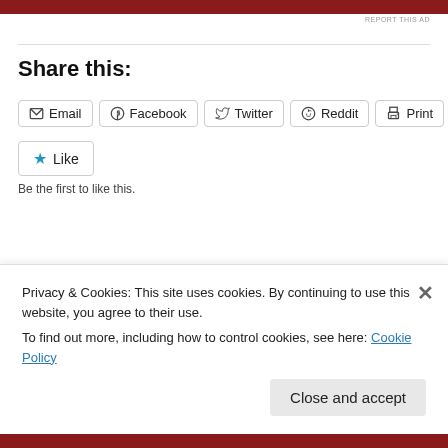[Figure (other): Red advertisement bar at top of page]
REPORT THIS AD
Share this:
Email  Facebook  Twitter  Reddit  Print
Like  Be the first to like this.
Related
Free Grass (12 Haiku)
Privacy & Cookies: This site uses cookies. By continuing to use this website, you agree to their use.
To find out more, including how to control cookies, see here: Cookie Policy
Close and accept